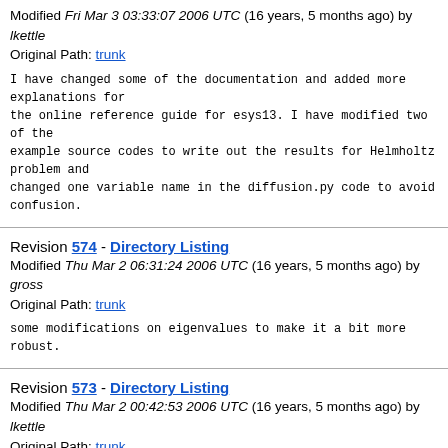Modified Fri Mar 3 03:33:07 2006 UTC (16 years, 5 months ago) by lkettle
Original Path: trunk
I have changed some of the documentation and added more explanations for
the online reference guide for esys13. I have modified two of the
example source codes to write out the results for Helmholtz problem and
changed one variable name in the diffusion.py code to avoid confusion.
Revision 574 - Directory Listing
Modified Thu Mar 2 06:31:24 2006 UTC (16 years, 5 months ago) by gross
Original Path: trunk
some modifications on eigenvalues to make it a bit more robust.
Revision 573 - Directory Listing
Modified Thu Mar 2 00:42:53 2006 UTC (16 years, 5 months ago) by lkettle
Original Path: trunk